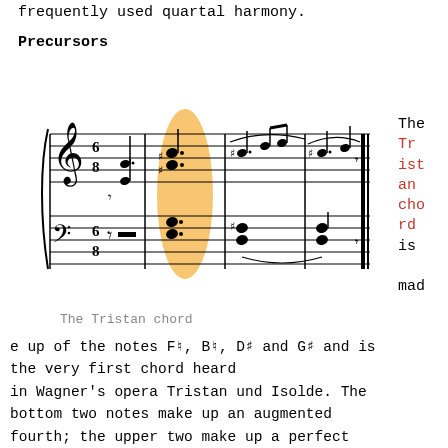frequently used quartal harmony.
Precursors
[Figure (illustration): Musical score showing The Tristan chord, a grand staff with treble and bass clef in 6/8 time. An orange/yellow highlight oval marks the Tristan chord in the middle of the score.]
The Tristan chord
The Tristan chord is made up of the notes F♮, B♮, D♯ and G♯ and is the very first chord heard in Wagner's opera Tristan und Isolde. The bottom two notes make up an augmented fourth; the upper two make up a perfect fourth. This layering of fourths in this